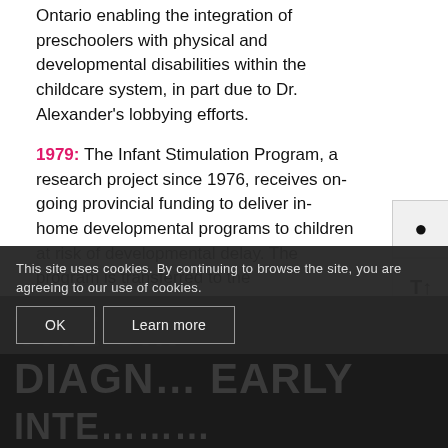Ontario enabling the integration of preschoolers with physical and developmental disabilities within the childcare system, in part due to Dr. Alexander's lobbying efforts.
1979: The Infant Stimulation Program, a research project since 1976, receives on-going provincial funding to deliver in-home developmental programs to children at risk of developmental delay. The program is transferred to the administration of the Regional Centre for Handicapped Children and Kingston General Hospital.
This site uses cookies. By continuing to browse the site, you are agreeing to our use of cookies.
OK | Learn more
THE 8... DIAGN... EARLY ...